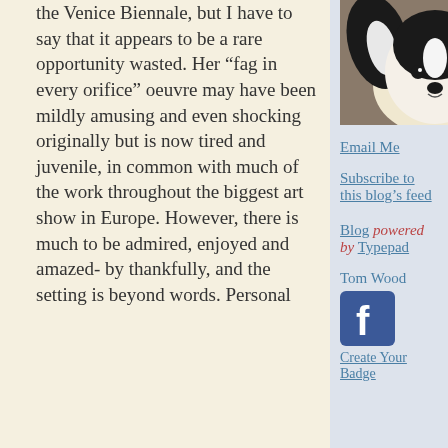the Venice Biennale, but I have to say that it appears to be a rare opportunity wasted. Her “fag in every orifice” oeuvre may have been mildly amusing and even shocking originally but is now tired and juvenile, in common with much of the work throughout the biggest art show in Europe. However, there is much to be admired, enjoyed and amazed- by thankfully, and the setting is beyond words. Personal
[Figure (photo): Photo of a black and white dog (papillon or similar breed) looking at the camera]
Email Me
Subscribe to this blog's feed
Blog powered by Typepad
Tom Wood
[Figure (logo): Facebook logo badge - blue square with white 'f' letter]
Create Your Badge